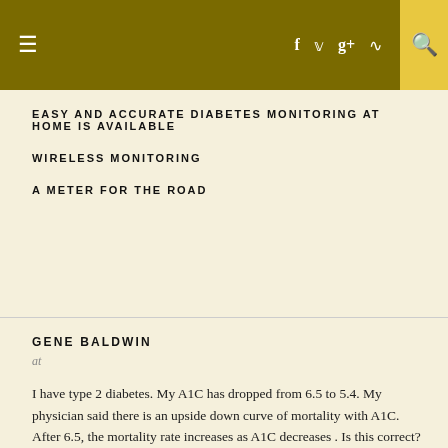≡  f  twitter  g+  rss  🔍
EASY AND ACCURATE DIABETES MONITORING AT HOME IS AVAILABLE
WIRELESS MONITORING
A METER FOR THE ROAD
GENE BALDWIN
at
I have type 2 diabetes. My A1C has dropped from 6.5 to 5.4. My physician said there is an upside down curve of mortality with A1C. After 6.5, the mortality rate increases as A1C decreases . Is this correct?